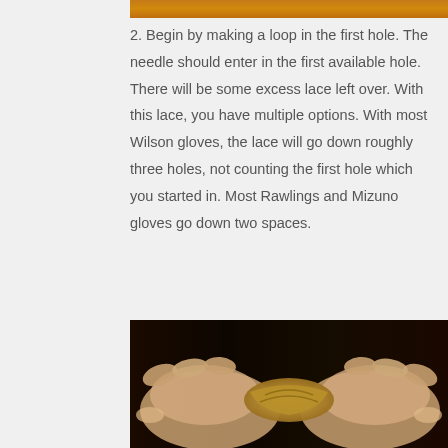[Figure (photo): Top portion of a photo showing a baseball glove lace, warm orange/golden tones]
2. Begin by making a loop in the first hole. The needle should enter in the first available hole. There will be some excess lace left over. With this lace, you have multiple options. With most Wilson gloves, the lace will go down roughly three holes, not counting the first hole which you started in. Most Rawlings and Mizuno gloves go down two spaces.
[Figure (photo): Hands holding and working with a baseball glove lace, dark background]